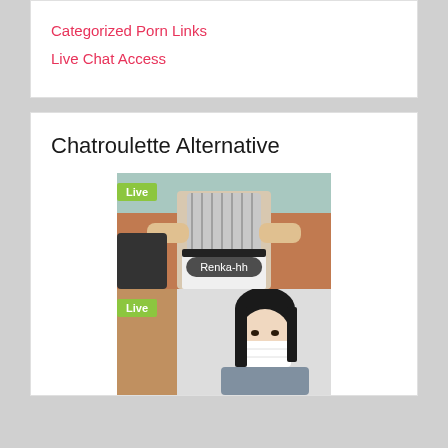Categorized Porn Links
Live Chat Access
Chatroulette Alternative
[Figure (photo): Live webcam stream thumbnail showing a woman in a white skirt and striped top sitting on a couch. A 'Live' green badge is in the top-left corner. A dark pill-shaped label reads 'Renka-hh' at the bottom.]
[Figure (photo): Live webcam stream thumbnail showing a woman with black hair wearing a white face mask and grey top. A 'Live' green badge is in the top-left corner. A dark label is partially visible at the bottom.]